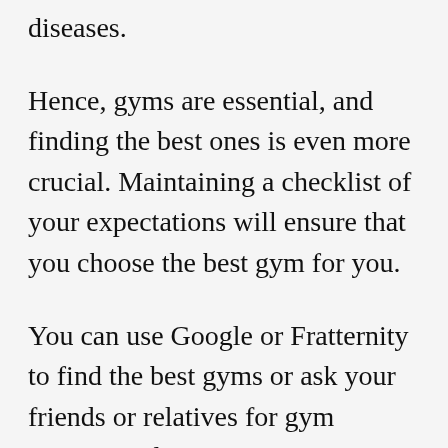diseases.
Hence, gyms are essential, and finding the best ones is even more crucial. Maintaining a checklist of your expectations will ensure that you choose the best gym for you.
You can use Google or Fratternity to find the best gyms or ask your friends or relatives for gym recommendations.
Drop in a comment below and tell us if you were able to find your best gym